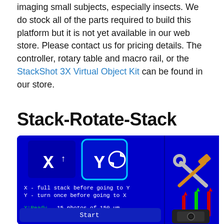imaging small subjects, especially insects. We do stock all of the parts required to build this platform but it is not yet available in our web store. Please contact us for pricing details. The controller, rotary table and macro rail, or the StackShot 3X Virtual Object Kit can be found in our store.
Stack-Rotate-Stack
[Figure (screenshot): Screenshot of a Stack-Rotate-Stack software interface on a blue background showing X and Y axis controls, with X highlighted in a cyan rounded rectangle, X and Y axis descriptions, ready status showing 15 photos of 150um and 11 photos of 1.0 deg, tool icons, axis indicators, a Start button, and a camera icon.]